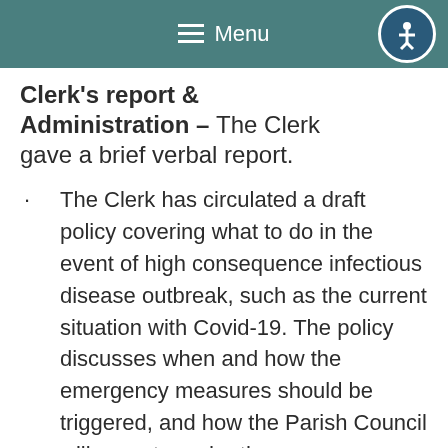☰  Menu
Clerk's report & Administration – The Clerk gave a brief verbal report.
·        The Clerk has circulated a draft policy covering what to do in the event of high consequence infectious disease outbreak, such as the current situation with Covid-19.  The policy discusses when and how the emergency measures should be triggered, and how the Parish Council will operate under those circumstances.  Cllr